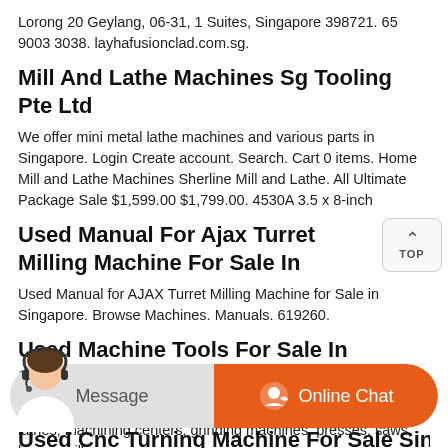Lorong 20 Geylang, 06-31, 1 Suites, Singapore 398721. 65 9003 3038. layhafusionclad.com.sg.
Mill And Lathe Machines Sg Tooling Pte Ltd
We offer mini metal lathe machines and various parts in Singapore. Login Create account. Search. Cart 0 items. Home Mill and Lathe Machines Sherline Mill and Lathe. All Ultimate Package Sale $1,599.00 $1,799.00. 4530A 3.5 x 8-inch
Used Manual For Ajax Turret Milling Machine For Sale In
Used Manual for AJAX Turret Milling Machine for Sale in Singapore. Browse Machines. Manuals. 619260.
Used Machine Tools For Sale In Singapore Machinio
Used machine tools for sale in Singapore. Okamoto. Find used lathes, machining centers, grinding machines, presses, saws, boring mills,
Used Cnc Turning Machine For Sale Singapore